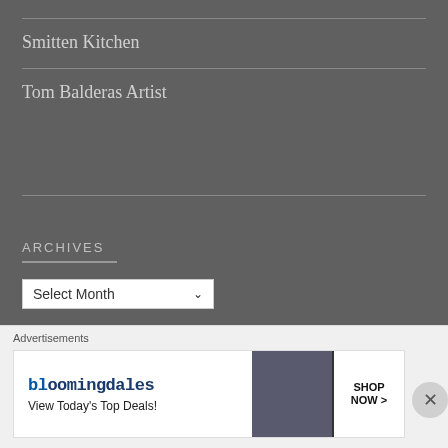Smitten Kitchen
Tom Balderas Artist
ARCHIVES
Select Month
Advertisements
[Figure (screenshot): Dark advertisement banner placeholder]
Advertisements
[Figure (screenshot): Bloomingdales advertisement: bloomingdales logo, View Today's Top Deals!, woman in hat, SHOP NOW > button]